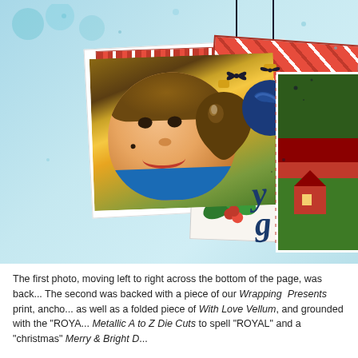[Figure (photo): A scrapbook page layout showing a close-up photo of a young smiling boy with curly brown hair wearing a blue shirt. The background features light blue watercolor-style paper with snowflake motifs. Various decorative papers are layered including red plaid and holly print patterns. Christmas ornaments (brown and blue) hang from strings with bows. Handwritten-style script letters 'y' and 'g' appear in dark blue in the lower right. A second photo strip on the far right shows a winter outdoor scene.]
The first photo, moving left to right across the bottom of the page, was back... The second was backed with a piece of our Wrapping  Presents print, ancho... as well as a folded piece of With Love Vellum, and grounded with the "ROYA... Metallic A to Z Die Cuts to spell "ROYAL" and a "christmas" Merry & Bright D...